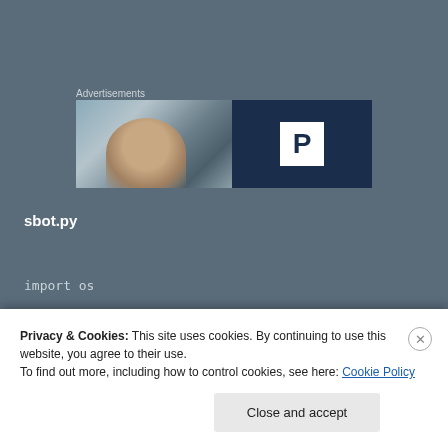Advertisements
[Figure (photo): Advertisement banner with a photo of a person on the left half and a dark navy blue panel on the right with a white box containing a bold letter P]
sbot.py
import os
Privacy & Cookies: This site uses cookies. By continuing to use this website, you agree to their use.
To find out more, including how to control cookies, see here: Cookie Policy
Close and accept